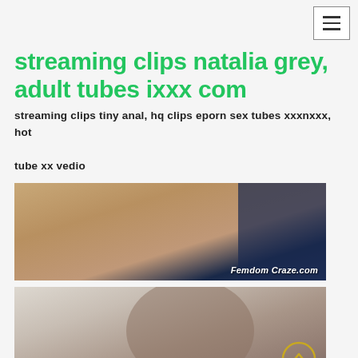[hamburger menu button]
streaming clips natalia grey, adult tubes ixxx com
streaming clips tiny anal, hq clips eporn sex tubes xxxnxxx, hot tube xx vedio
[Figure (photo): Two women posing together, partially undressed. Watermark reads 'Femdom Craze.com']
[Figure (photo): Young woman with dark hair lying on bed, smiling at camera]